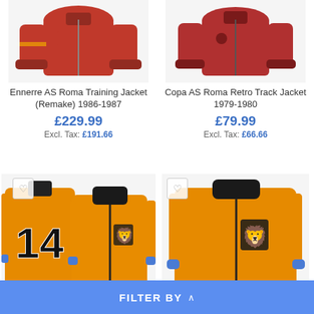[Figure (photo): Red AS Roma training jacket shown from front, partially cropped at top]
Ennerre AS Roma Training Jacket (Remake) 1986-1987
£229.99
Excl. Tax: £191.66
[Figure (photo): Red AS Roma retro track jacket shown from front, partially cropped at top]
Copa AS Roma Retro Track Jacket 1979-1980
£79.99
Excl. Tax: £66.66
[Figure (photo): Orange Dutch retro track jacket with number 14 on back and lion crest on front, shown front and back]
[Figure (photo): Orange Dutch retro track jacket with lion crest on front]
FILTER BY